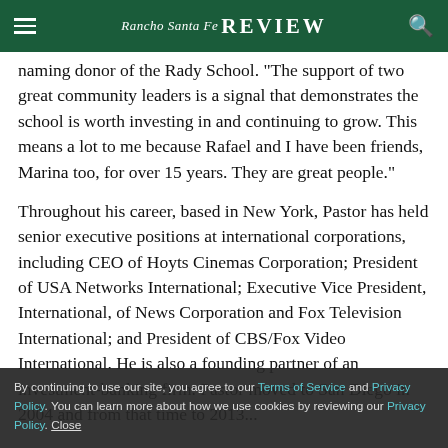Rancho Santa Fe Review
naming donor of the Rady School. "The support of two great community leaders is a signal that demonstrates the school is worth investing in and continuing to grow. This means a lot to me because Rafael and I have been friends, Marina too, for over 15 years. They are great people."
Throughout his career, based in New York, Pastor has held senior executive positions at international corporations, including CEO of Hoyts Cinemas Corporation; President of USA Networks International; Executive Vice President, International, of News Corporation and Fox Television International; and President of CBS/Fox Video International. He is also a founding partner of an investment-banking firm. Pastor moved to San Diego in 2004 and from that time to 2013...
By continuing to use our site, you agree to our Terms of Service and Privacy Policy. You can learn more about how we use cookies by reviewing our Privacy Policy. Close